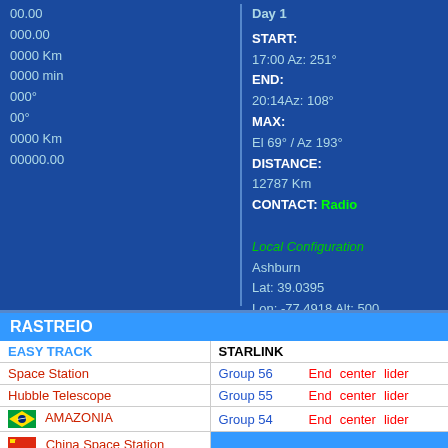00.00
000.00
0000 Km
0000 min
000°
00°
0000 Km
00000.00
Day 1
START:
17:00 Az: 251°
END:
20:14Az: 108°
MAX:
El 69° / Az 193°
DISTANCE:
12787 Km
CONTACT: Radio
Local Configuration
Ashburn
Lat: 39.0395
Lon: -77.4918 Alt: 500
Timezone: UTC-4
RASTREIO
| EASY TRACK | STARLINK |
| --- | --- |
| Space Station | Group 56    End  center  lider |
| Hubble Telescope | Group 55    End  center  lider |
| 🇧🇷 AMAZONIA | Group 54    End  center  lider |
| 🇨🇳 China Space Station |  |